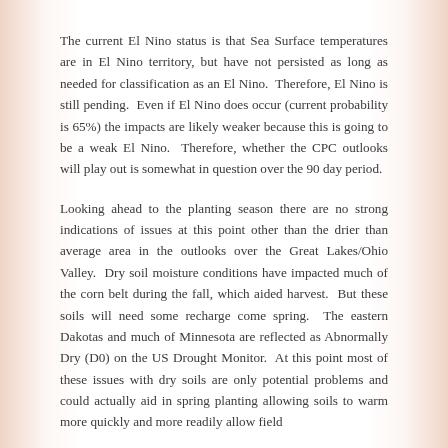The current El Nino status is that Sea Surface temperatures are in El Nino territory, but have not persisted as long as needed for classification as an El Nino.  Therefore, El Nino is still pending.  Even if El Nino does occur (current probability is 65%) the impacts are likely weaker because this is going to be a weak El Nino.  Therefore, whether the CPC outlooks will play out is somewhat in question over the 90 day period.
Looking ahead to the planting season there are no strong indications of issues at this point other than the drier than average area in the outlooks over the Great Lakes/Ohio Valley.  Dry soil moisture conditions have impacted much of the corn belt during the fall, which aided harvest.  But these soils will need some recharge come spring.  The eastern Dakotas and much of Minnesota are reflected as Abnormally Dry (D0) on the US Drought Monitor.  At this point most of these issues with dry soils are only potential problems and could actually aid in spring planting allowing soils to warm more quickly and more readily allow field